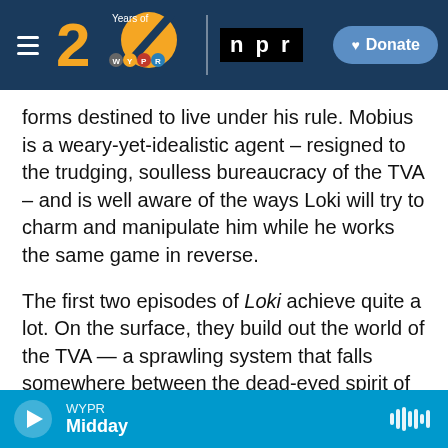[Figure (screenshot): WYPR 20 Years / NPR navigation bar with hamburger menu, WYPR 20 Years logo, NPR logo, and Donate button on dark blue background]
forms destined to live under his rule. Mobius is a weary-yet-idealistic agent – resigned to the trudging, soulless bureaucracy of the TVA – and is well aware of the ways Loki will try to charm and manipulate him while he works the same game in reverse.
The first two episodes of Loki achieve quite a lot. On the surface, they build out the world of the TVA — a sprawling system that falls somewhere between the dead-eyed spirit of the DMV and a bizarrely menacing ride line at Disney World. The technology looks like drab, 1970s-era office chic but
WYPR Midday